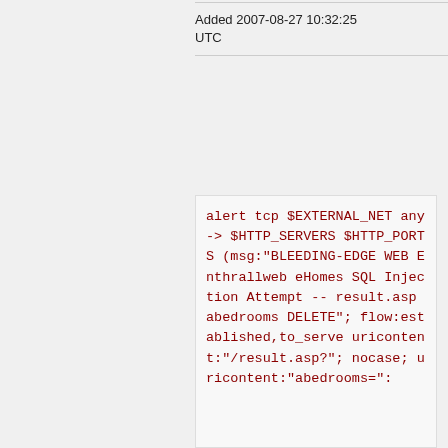Added 2007-08-27 10:32:25 UTC
alert tcp $EXTERNAL_NET any -> $HTTP_SERVERS $HTTP_PORTS (msg:"BLEEDING-EDGE WEB Enthrallweb eHomes SQL Injection Attempt -- result.asp abedrooms DELETE"; flow:established,to_server; uricontent:"/result.asp?"; nocase; uricontent:"abedrooms=":